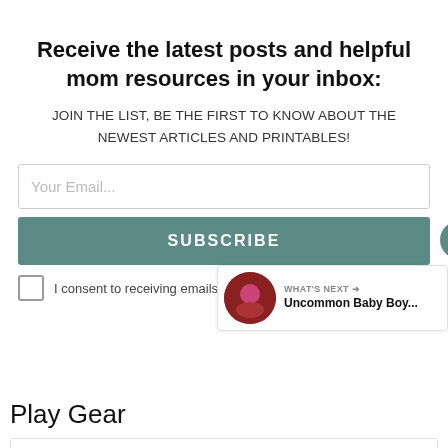Receive the latest posts and helpful mom resources in your inbox:
JOIN THE LIST, BE THE FIRST TO KNOW ABOUT THE NEWEST ARTICLES AND PRINTABLES!
Your Email...
SUBSCRIBE
I consent to receiving emails and personalized ads.
[Figure (infographic): What's Next panel with thumbnail image showing Uncommon Baby Boy...]
Play Gear
[Figure (infographic): Circle K Store Finder advertisement banner]